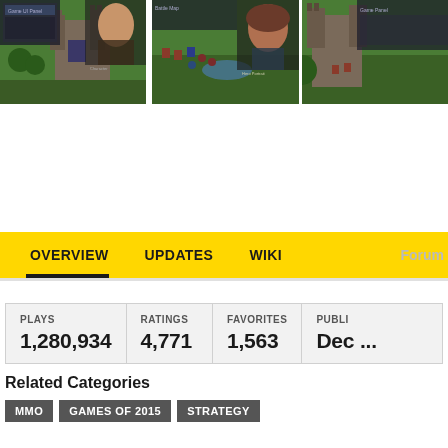[Figure (screenshot): Three game screenshots showing a medieval strategy MMO game with castle, characters, and battle scenes]
[Figure (screenshot): Navigation bar with OVERVIEW, UPDATES, WIKI tabs on yellow background]
| PLAYS | RATINGS | FAVORITES | PUBLI... |
| --- | --- | --- | --- |
| 1,280,934 | 4,771 | 1,563 | Dec ... |
Related Categories
MMO
GAMES OF 2015
STRATEGY